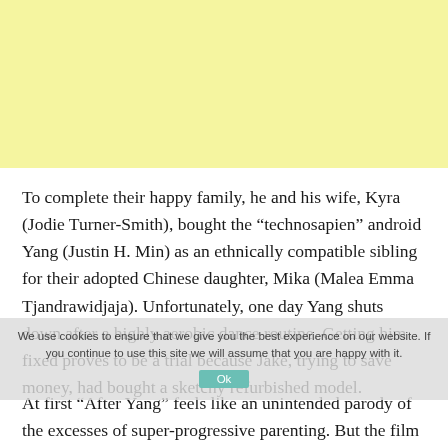[Figure (other): Yellow/cream colored advertisement or banner block at top of page]
To complete their happy family, he and his wife, Kyra (Jodie Turner-Smith), bought the “technosapien” android Yang (Justin H. Min) as an ethnically compatible sibling for their adopted Chinese daughter, Mika (Malea Emma Tjandrawidjaja). Unfortunately, one day Yang shuts down after a highly aerobic dance routine. Getting him fixed proves to be a trial because Jake, trying to save money, had bought a sketchy refurbished model.
We use cookies to ensure that we give you the best experience on our website. If you continue to use this site we will assume that you are happy with it.
At first “After Yang” feels like an unintended parody of the excesses of super-progressive parenting. But the film